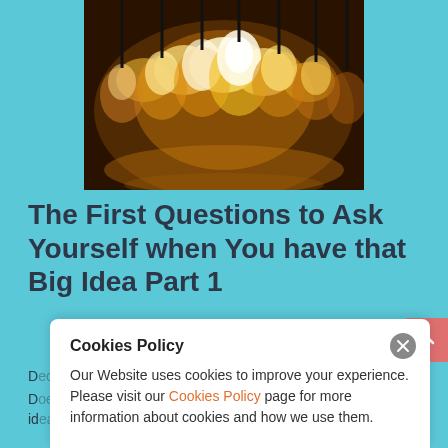[Figure (photo): Photograph of multiple glowing vintage incandescent light bulbs hanging from above against a dark background, warm amber/golden tones]
The First Questions to Ask Yourself when You have that Big Idea Part 1
D... 6, 2017
D... id...
Cookies Policy
Our Website uses cookies to improve your experience. Please visit our Cookies Policy page for more information about cookies and how we use them.